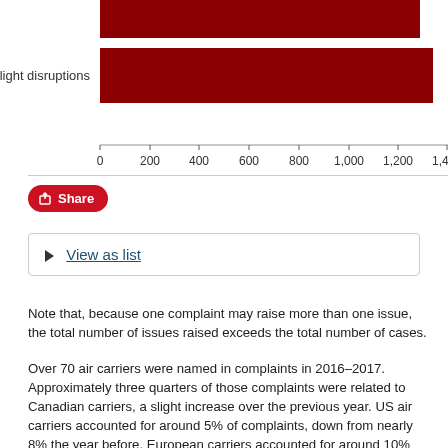[Figure (bar-chart): Issues by type (partial, flight disruptions bar shown)]
Share
▶ View as list
Note that, because one complaint may raise more than one issue, the total number of issues raised exceeds the total number of cases.
Over 70 air carriers were named in complaints in 2016–2017. Approximately three quarters of those complaints were related to Canadian carriers, a slight increase over the previous year. US air carriers accounted for around 5% of complaints, down from nearly 8% the year before. European carriers accounted for around 10% and the remaining 11% were against other foreign carriers.